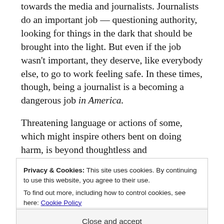towards the media and journalists. Journalists do an important job — questioning authority, looking for things in the dark that should be brought into the light. But even if the job wasn't important, they deserve, like everybody else, to go to work feeling safe. In these times, though, being a journalist is a becoming a dangerous job in America.
Threatening language or actions of some, which might inspire others bent on doing harm, is beyond thoughtless and inappropriate. Of course, it's one thing just to use words. However, it seems that those words are becoming actions (something I hope doesn't continue and become a trend).
Privacy & Cookies: This site uses cookies. By continuing to use this website, you agree to their use. To find out more, including how to control cookies, see here: Cookie Policy
Close and accept
People), to be tenacious stopping just at the outer edge of